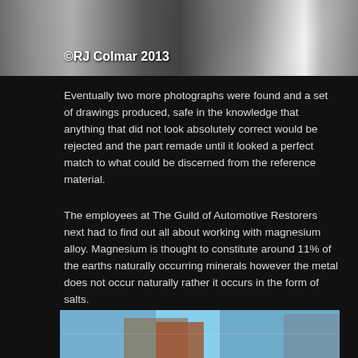[Figure (photo): Close-up photograph of a vehicle part, likely chrome/metal trim, with grass visible. Copyright watermark overlay.]
©RJ Colmar 2013
Eventually two more photographs were found and a set of drawings produced, safe in the knowledge that anything that did not look absolutely correct would be rejected and the part remade until it looked a perfect match to what could be discerned from the reference material.
The employees at The Guild of Automotive Restorers next had to find out all about working with magnesium alloy. Magnesium is thought to constitute around 11% of the earths naturally occurring minerals however the metal does not occur naturally rather it occurs in the form of salts.
[Figure (photo): Bottom portion of a photograph showing a vehicle restoration scene with blue sky and car parts visible.]